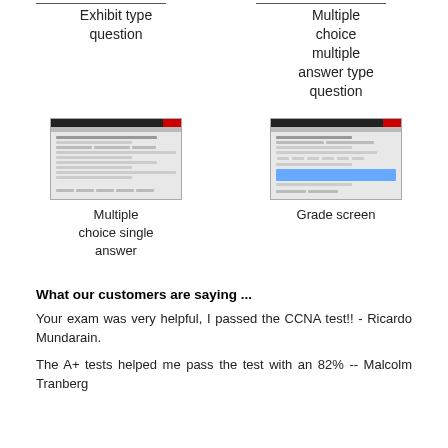Exhibit type question
Multiple choice multiple answer type question
[Figure (screenshot): Screenshot of an exhibit type question interface window]
Multiple choice single answer
[Figure (screenshot): Screenshot of a grade screen interface window]
Grade screen
What our customers are saying ...
Your exam was very helpful, I passed the CCNA test!! - Ricardo Mundarain.
The A+ tests helped me pass the test with an 82% -- Malcolm Tranberg